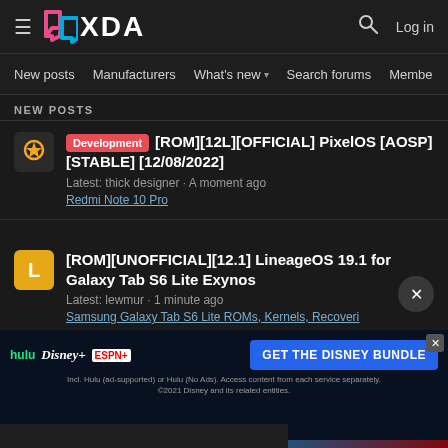XDA Forums - New posts
NEW POSTS
Development [ROM][12L][OFFICIAL] PixelOS [AOSP][STABLE][12/08/2022] Latest: thick designer · A moment ago Redmi Note 10 Pro
[ROM][UNOFFICIAL][12.1] LineageOS 19.1 for Galaxy Tab S6 Lite Exynos Latest: lewmur · 1 minute ago Samsung Galaxy Tab S6 Lite ROMs, Kernels, Recoveri
Installing TWRP Samsung a20e Latest: jayrko0315 · 1 minute ago
[Figure (screenshot): Advertisement banner for Disney Bundle featuring Hulu, Disney+, and ESPN+ logos with GET THE DISNEY BUNDLE call to action button]